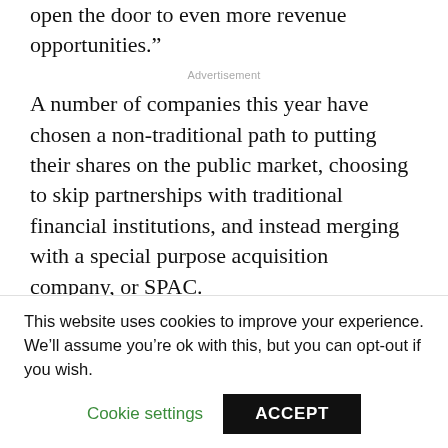open the door to even more revenue opportunities.”
Advertisement
A number of companies this year have chosen a non-traditional path to putting their shares on the public market, choosing to skip partnerships with traditional financial institutions, and instead merging with a special purpose acquisition company, or SPAC.
SPACs can cut up to 75 percent off the time it takes for a company to get its stock trading on an exchange, versus the traditional process of an initial public offering. SPACs can also make it
This website uses cookies to improve your experience. We’ll assume you’re ok with this, but you can opt-out if you wish.
Cookie settings
ACCEPT